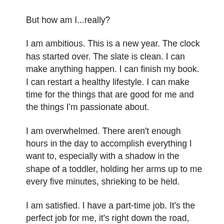But how am I...really?
I am ambitious. This is a new year. The clock has started over. The slate is clean. I can make anything happen. I can finish my book. I can restart a healthy lifestyle. I can make time for the things that are good for me and the things I'm passionate about.
I am overwhelmed. There aren't enough hours in the day to accomplish everything I want to, especially with a shadow in the shape of a toddler, holding her arms up to me every five minutes, shrieking to be held.
I am satisfied. I have a part-time job. It's the perfect job for me, it's right down the road, and I get to spend just the right amount of time with my daughter–a lot, but not too much.